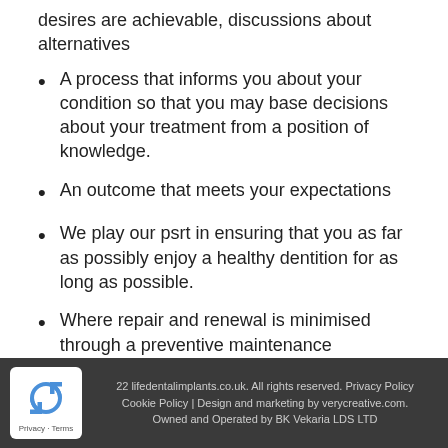desires are achievable, discussions about alternatives
A process that informs you about your condition so that you may base decisions about your treatment from a position of knowledge.
An outcome that meets your expectations
We play our psrt in ensuring that you as far as possibly enjoy a healthy dentition for as long as possible.
Where repair and renewal is minimised through a preventive maintenance programme.
22 lifedentalimplants.co.uk. All rights reserved. Privacy Policy Cookie Policy | Design and marketing by verycreative.com. Owned and Operated by BK Vekaria LDS LTD